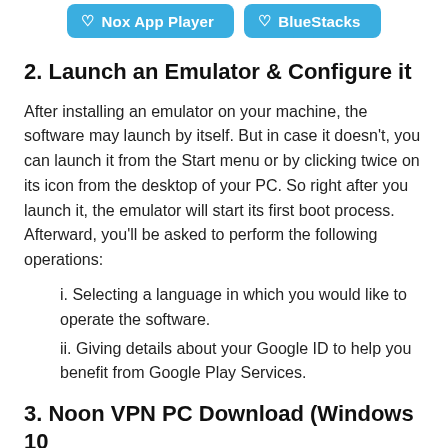[Figure (other): Two blue buttons labeled 'Nox App Player' and 'BlueStacks' with heart/like icons and dashed borders]
2. Launch an Emulator & Configure it
After installing an emulator on your machine, the software may launch by itself. But in case it doesn't, you can launch it from the Start menu or by clicking twice on its icon from the desktop of your PC. So right after you launch it, the emulator will start its first boot process. Afterward, you'll be asked to perform the following operations:
i. Selecting a language in which you would like to operate the software.
ii. Giving details about your Google ID to help you benefit from Google Play Services.
3. Noon VPN PC Download (Windows 10 & MacOS Big Sur)
Once you view the home interface of an emulator, you need to visit the play store using it. Then use the play store's